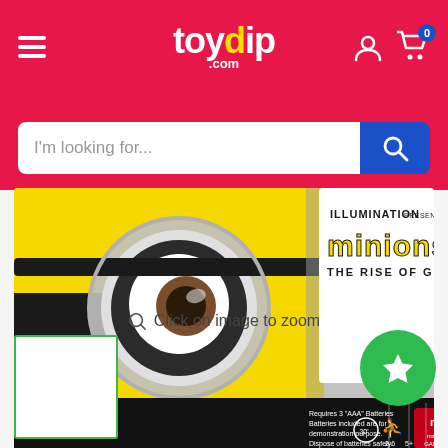toydip.com
I'm looking for...
[Figure (photo): Minions: The Rise of Gru board game box by Mattel Games showing a yellow Minion character face with one large eye, 'ILLUMINATION presents minions THE RISE OF GRU' text, Requires 3 AAA Batteries, 2-6 players, Age 5+, 30 min]
Click on image to zoom
[Figure (photo): Small thumbnail of the product box]